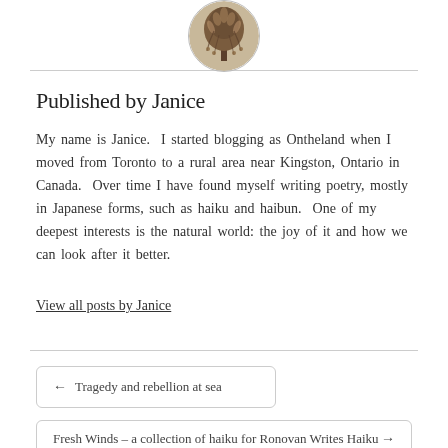[Figure (illustration): Circular avatar image showing a willow tree illustration in brown/dark tones on a light background]
Published by Janice
My name is Janice.  I started blogging as Ontheland when I moved from Toronto to a rural area near Kingston, Ontario in Canada.  Over time I have found myself writing poetry, mostly in Japanese forms, such as haiku and haibun.  One of my deepest interests is the natural world: the joy of it and how we can look after it better.
View all posts by Janice
← Tragedy and rebellion at sea
Fresh Winds – a collection of haiku for Ronovan Writes Haiku →